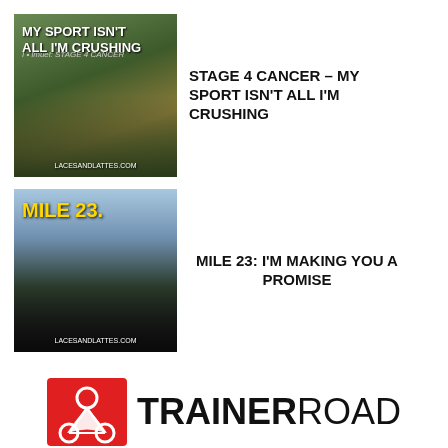[Figure (photo): Mountain bike rider with text overlay 'MY SPORT ISN'T ALL I'M CRUSHING' and subtext 'Stage 4 Cancer']
STAGE 4 CANCER – MY SPORT ISN'T ALL I'M CRUSHING
[Figure (photo): Swimmer in wetsuit by a lake with text overlay 'MILE 23' and URL lacesandlattes.com]
MILE 23: I'M MAKING YOU A PROMISE
[Figure (logo): TrainerRoad logo with red geometric cyclist icon and bold text TRAINERROAD]
[Figure (logo): Partial circular logo at bottom of page, partially cut off]